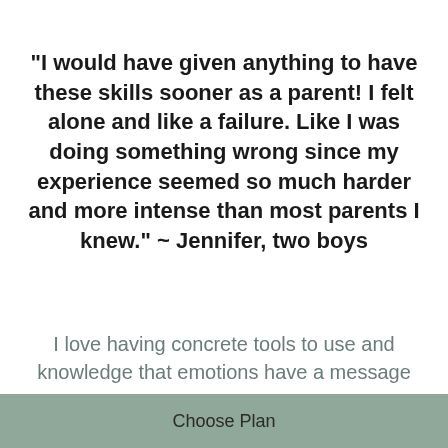"I would have given anything to have these skills sooner as a parent! I felt alone and like a failure. Like I was doing something wrong since my experience seemed so much harder and more intense than most parents I knew." ~ Jennifer, two boys
I love having concrete tools to use and knowledge that emotions have a message
Choose Plan